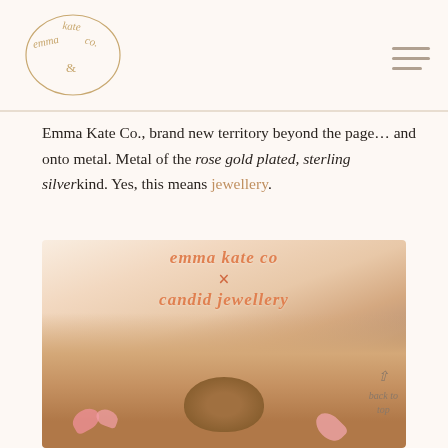emma kate co. [logo] [navigation hamburger menu]
Emma Kate Co., brand new territory beyond the page… and onto metal. Metal of the rose gold plated, sterling silver kind. Yes, this means jewellery.
[Figure (photo): Photo of hands holding a bird's nest with small round charm tokens and pink flower petals. Overlaid with hand-lettered rose gold text reading 'emma kate co × candid jewellery'. A 'back to top' navigation element appears in bottom right.]